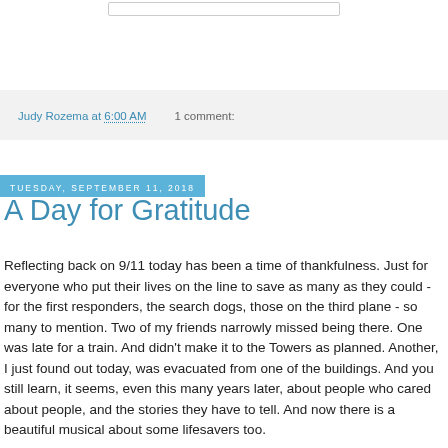Judy Rozema at 6:00 AM    1 comment:
Tuesday, September 11, 2018
A Day for Gratitude
Reflecting back on 9/11 today has been a time of thankfulness. Just for everyone who put their lives on the line to save as many as they could - for the first responders, the search dogs, those on the third plane - so many to mention. Two of my friends narrowly missed being there. One was late for a train. And didn't make it to the Towers as planned. Another, I just found out today, was evacuated from one of the buildings. And you still learn, it seems, even this many years later, about people who cared about people, and the stories they have to tell. And now there is a beautiful musical about some lifesavers too.